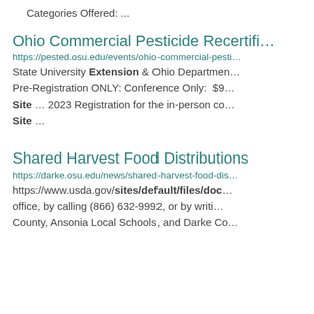Categories Offered: ...
Ohio Commercial Pesticide Recertifi…
https://pested.osu.edu/events/ohio-commercial-pesti… State University Extension & Ohio Departmen… Pre-Registration ONLY: Conference Only: $9… Site … 2023 Registration for the in-person co… Site …
Shared Harvest Food Distributions
https://darke.osu.edu/news/shared-harvest-food-dis… https://www.usda.gov/sites/default/files/doc… office, by calling (866) 632-9992, or by writi… County, Ansonia Local Schools, and Darke Co…